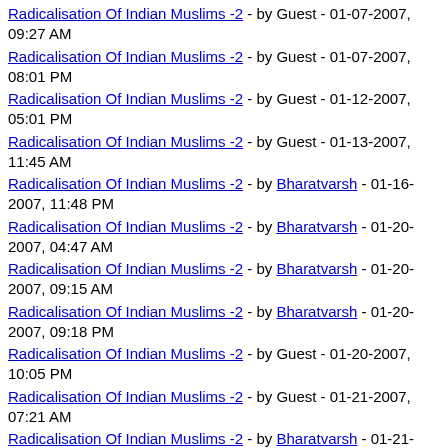Radicalisation Of Indian Muslims -2 - by Guest - 01-07-2007, 09:27 AM
Radicalisation Of Indian Muslims -2 - by Guest - 01-07-2007, 08:01 PM
Radicalisation Of Indian Muslims -2 - by Guest - 01-12-2007, 05:01 PM
Radicalisation Of Indian Muslims -2 - by Guest - 01-13-2007, 11:45 AM
Radicalisation Of Indian Muslims -2 - by Bharatvarsh - 01-16-2007, 11:48 PM
Radicalisation Of Indian Muslims -2 - by Bharatvarsh - 01-20-2007, 04:47 AM
Radicalisation Of Indian Muslims -2 - by Bharatvarsh - 01-20-2007, 09:15 AM
Radicalisation Of Indian Muslims -2 - by Bharatvarsh - 01-20-2007, 09:18 PM
Radicalisation Of Indian Muslims -2 - by Guest - 01-20-2007, 10:05 PM
Radicalisation Of Indian Muslims -2 - by Guest - 01-21-2007, 07:21 AM
Radicalisation Of Indian Muslims -2 - by Bharatvarsh - 01-21-2007, 09:23 PM
Radicalisation Of Indian Muslims -2 - by Hauma Hamiddha - 01-22-2007, 12:37 AM
Radicalisation Of Indian Muslims -2 - by Guest - 01-22-2007,